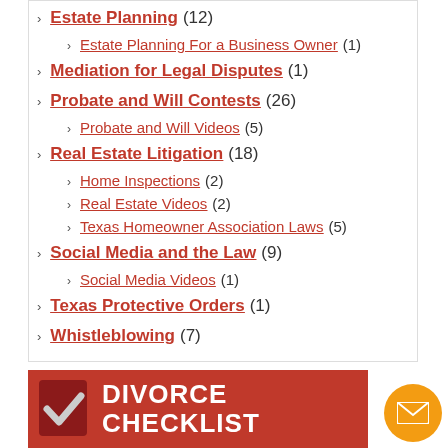Estate Planning (12)
Estate Planning For a Business Owner (1)
Mediation for Legal Disputes (1)
Probate and Will Contests (26)
Probate and Will Videos (5)
Real Estate Litigation (18)
Home Inspections (2)
Real Estate Videos (2)
Texas Homeowner Association Laws (5)
Social Media and the Law (9)
Social Media Videos (1)
Texas Protective Orders (1)
Whistleblowing (7)
[Figure (illustration): Divorce Checklist banner with red background and checkmark icon]